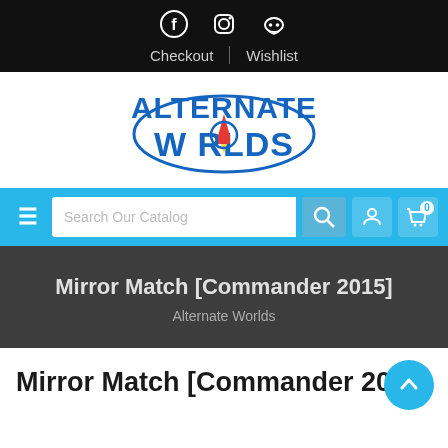Social icons (Facebook, Instagram, Discord) | Checkout | Wishlist
[Figure (logo): Alternate Worlds logo with rocket and circular orbit graphic, blue and red text]
Search Our Catalog [search bar] [user icon] [cart icon with 0]
Mirror Match [Commander 2015]
Alternate Worlds
Mirror Match [Commander 2015]